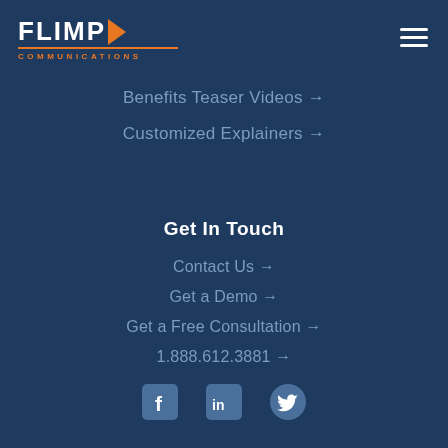[Figure (logo): Flimp Communications logo — white bold 'FLIMP' text with orange play-button triangle, orange underline, orange 'COMMUNICATIONS' text below]
[Figure (other): Hamburger menu icon — three white horizontal lines]
Benefits Teaser Videos →
Customized Explainers →
Get In Touch
Contact Us →
Get a Demo →
Get a Free Consultation →
1.888.612.3881 →
[Figure (other): Social media icons: Facebook, LinkedIn, Twitter]